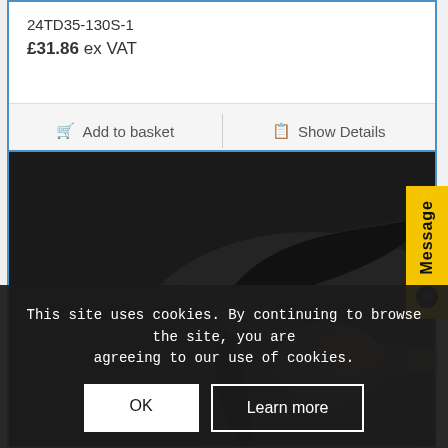24TD35-130S-1
£31.86 ex VAT
Add to basket
Show Details
[Figure (photo): Close-up photo of a fan motor with dark plastic blades against a dark background. The blades are spread outward and a metallic motor body is visible on the right side.]
Message
This site uses cookies. By continuing to browse the site, you are agreeing to our use of cookies.
OK
Learn more